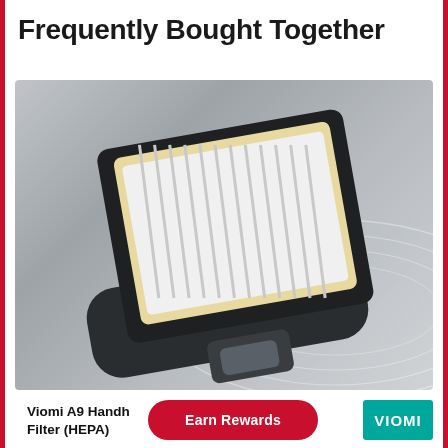Frequently Bought Together
[Figure (photo): Viomi A9 Handheld Vacuum HEPA Filter product photo on grey gradient background]
Viomi A9 Handh... Filter (HEPA)
Earn Rewards
[Figure (logo): VIOMI brand logo in white text on teal background]